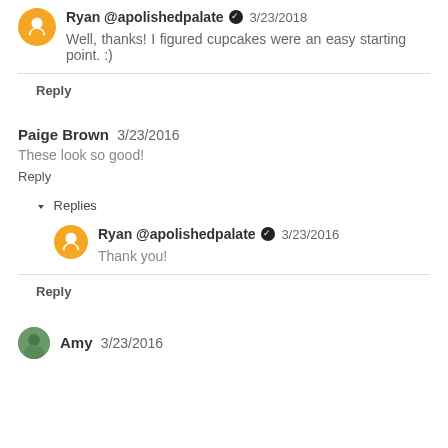Ryan @apolishedpalate ✓ 3/23/2016
Well, thanks! I figured cupcakes were an easy starting point. :)
Reply
Paige Brown  3/23/2016
These look so good!
Reply
▼ Replies
Ryan @apolishedpalate ✓ 3/23/2016
Thank you!
Reply
Amy  3/23/2016